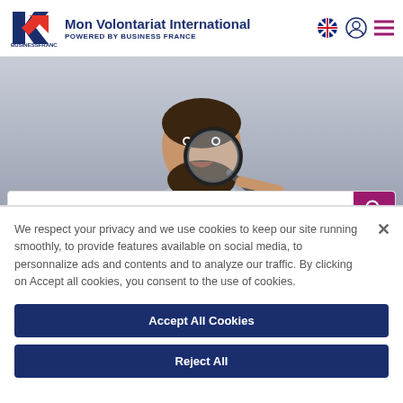[Figure (logo): Business France logo with stylized red arrow and blue K shape]
Mon Volontariat International POWERED BY BUSINESS FRANCE
[Figure (photo): Man holding magnifying glass up to his eye, smiling, against grey background]
What are you searching for ?
We respect your privacy and we use cookies to keep our site running smoothly, to provide features available on social media, to personnalize ads and contents and to analyze our traffic. By clicking on Accept all cookies, you consent to the use of cookies.
Accept All Cookies
Reject All